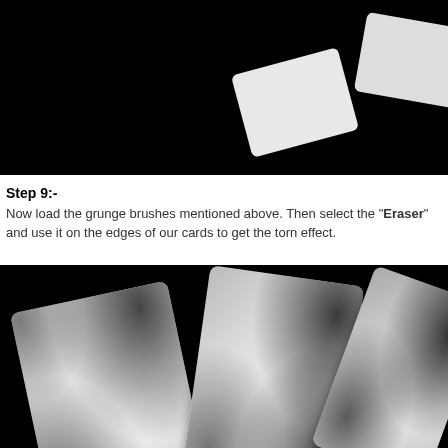[Figure (photo): Black background with white playing cards partially visible at top, showing torn/grunge edges effect]
Step 9:-
Now load the grunge brushes mentioned above. Then select the "Eraser" and use it on the edges of our cards to get the torn effect.
[Figure (photo): Black background with three white playing cards spread out showing grunge/torn edge effects applied at the borders]